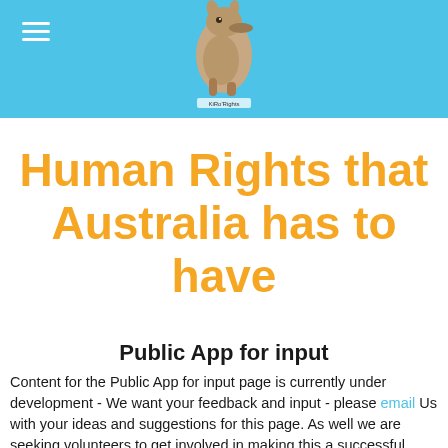[Figure (logo): Blue header bar with hamburger menu icon on left and a kangaroo/platypus logo image centered, with text 'KiRo'Rights' below the animal image]
Human Rights that Australia has to have
Public App for input
Content for the Public App for input page is currently under development - We want your feedback and input - please email Us with your ideas and suggestions for this page. As well we are seeking volunteers to get involved in making this a successful project.